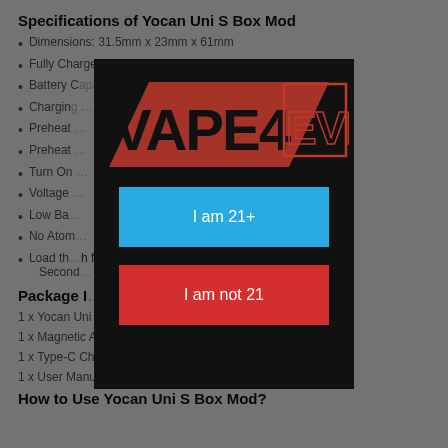Specifications of Yocan Uni S Box Mod
Dimensions: 31.5mm x 23mm x 61mm
Fully Charged Time: 1 Hour
Battery Capacity: [obscured]
Charging [obscured]
Preheat [obscured]
Preheat [obscured]
Turn On [obscured]
Voltage [obscured]
Low Ba[obscured]
No Atom[obscured]
Load th[obscured]h for 1 Second
Package I[obscured]
1 x Yocan Uni S Box Mod
1 x Magnetic Adapter
1 x Type-C Charging Cable
1 x User Manual
How to Use Yocan Uni S Box Mod?
[Figure (logo): Vape4Ever logo and age verification modal overlay with 'I am 21+' blue button and 'I am not 21' red button]